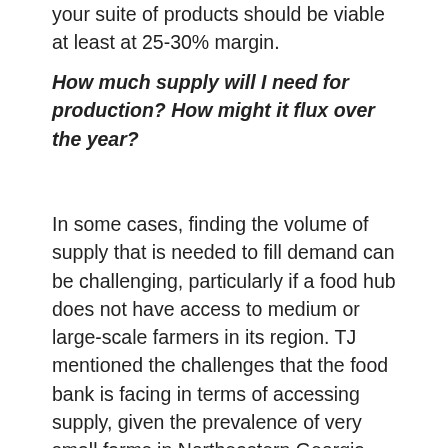your suite of products should be viable at least at 25-30% margin.
How much supply will I need for production? How might it flux over the year?
In some cases, finding the volume of supply that is needed to fill demand can be challenging, particularly if a food hub does not have access to medium or large-scale farmers in its region. TJ mentioned the challenges that the food bank is facing in terms of accessing supply, given the prevalence of very small farms in Northeastern Georgia. Most of these farmers had no food safety protocols in place, and were not yet ready to sell beyond direct-to-consumer channels. TJ has been providing food safety and wholesale readiness training to these farmers to ensure the food bank